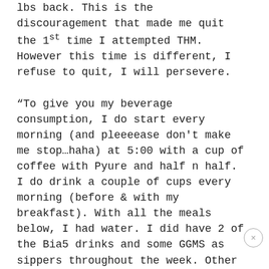lbs back. This is the discouragement that made me quit the 1st time I attempted THM. However this time is different, I refuse to quit, I will persevere.

“To give you my beverage consumption, I do start every morning (and pleeeease don’t make me stop…haha) at 5:00 with a cup of coffee with Pyure and half n half. I do drink a couple of cups every morning (before & with my breakfast). With all the meals below, I had water. I did have 2 of the Bia5 drinks and some GGMS as sippers throughout the week. Other than that I only had what you see here…..I am what I am right now because of poor choices (and an excessive dose of steriods – 40 mg/day for 2 years – unexplained hives/anaphylaxis). It’s not God’s fault, but mine. However, I am His creation and I want to get back to what He created.”